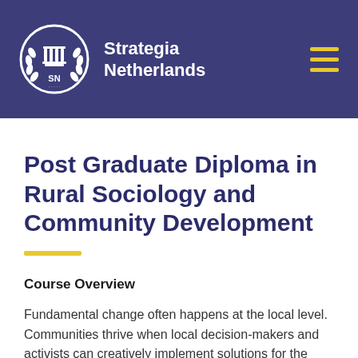Strategia Netherlands
Post Graduate Diploma in Rural Sociology and Community Development
Course Overview
Fundamental change often happens at the local level. Communities thrive when local decision-makers and activists can creatively implement solutions for the social, economic,